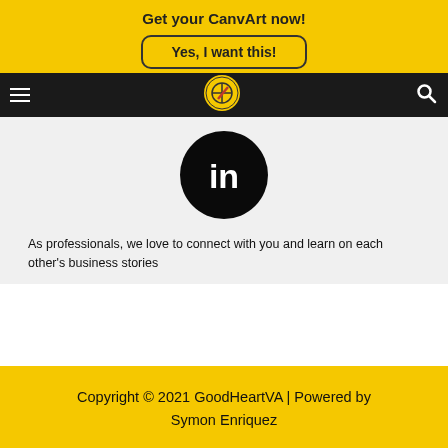Get your CanvArt now!
Yes, I want this!
[Figure (logo): GoodHeartVA logo in yellow circle with dark graphic]
[Figure (logo): LinkedIn icon - white 'in' text on black circle]
As professionals, we love to connect with you and learn on each other's business stories
Copyright © 2021 GoodHeartVA | Powered by Symon Enriquez